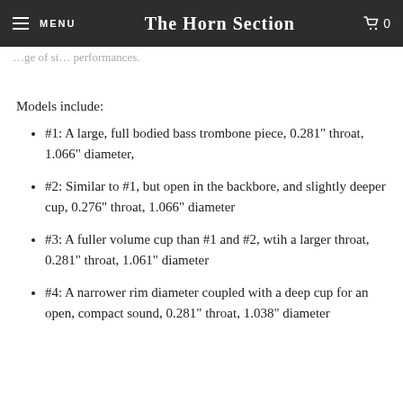MENU | THE HORN SECTION | 0
…ge of si… performances.
Models include:
#1:  A large, full bodied bass trombone piece, 0.281" throat, 1.066" diameter,
#2:  Similar to #1, but open in the backbore, and slightly deeper cup, 0.276" throat, 1.066" diameter
#3:  A fuller volume cup than #1 and #2, wtih a larger throat, 0.281" throat, 1.061" diameter
#4:  A narrower rim diameter coupled with a deep cup for an open, compact sound, 0.281" throat, 1.038" diameter